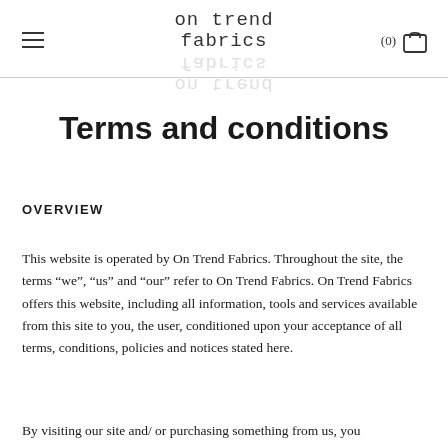on trend fabrics (0)
Terms and conditions
OVERVIEW
This website is operated by On Trend Fabrics. Throughout the site, the terms “we”, “us” and “our” refer to On Trend Fabrics. On Trend Fabrics offers this website, including all information, tools and services available from this site to you, the user, conditioned upon your acceptance of all terms, conditions, policies and notices stated here.
By visiting our site and/ or purchasing something from us, you